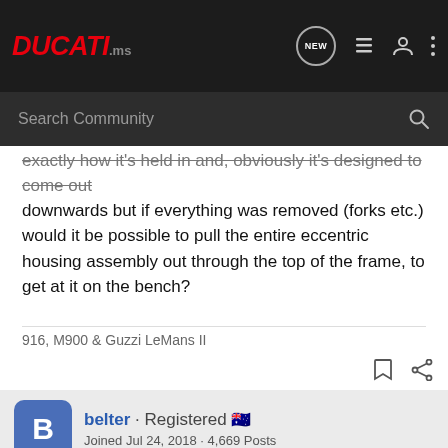DUCATI.ms
Search Community
exactly how it's held in and, obviously it's designed to come out downwards but if everything was removed (forks etc.) would it be possible to pull the entire eccentric housing assembly out through the top of the frame, to get at it on the bench?
916, M900 & Guzzi LeMans II
belter · Registered 🇦🇺
Joined Jul 24, 2018 · 4,669 Posts
#14 · No [Suzuki GSX-S1000GT Ad]